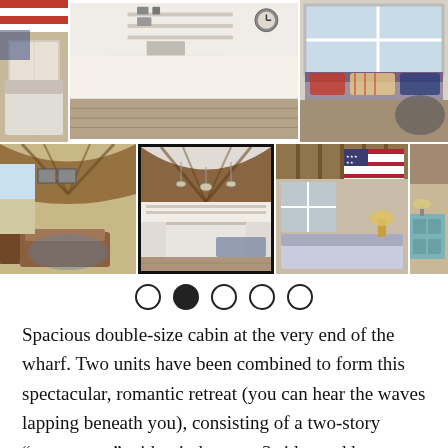[Figure (photo): Grid of interior photos of a cabin/wharf rental: kitchen, living area with windows, bedroom with American flag decor, rustic wood-beamed ceilings]
[Figure (other): Navigation dots: 5 circles, second one filled (active indicator)]
Spacious double-size cabin at the very end of the wharf. Two units have been combined to form this spectacular, romantic retreat (you can hear the waves lapping beneath you), consisting of a two-story "great room" with windows on 3 sides and huge glass sliding doors opening onto the deck and the breathtaking views of the